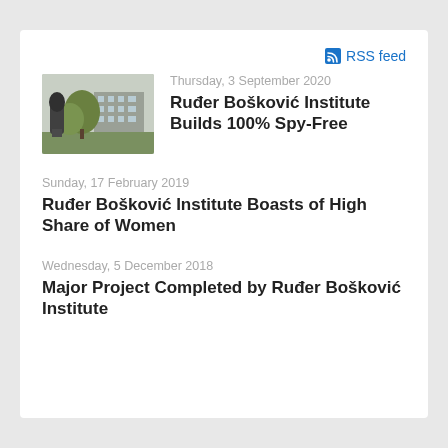RSS feed
[Figure (photo): Outdoor photo of Ruđer Bošković Institute campus with a sculpture in front and a multi-story building and trees in the background]
Thursday, 3 September 2020
Ruđer Bošković Institute Builds 100% Spy-Free
Sunday, 17 February 2019
Ruđer Bošković Institute Boasts of High Share of Women
Wednesday, 5 December 2018
Major Project Completed by Ruđer Bošković Institute